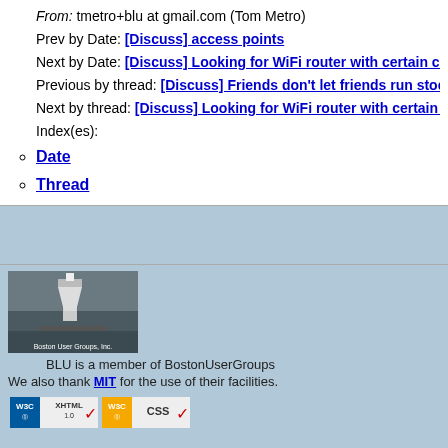From: tmetro+blu at gmail.com (Tom Metro)
Prev by Date: [Discuss] access points
Next by Date: [Discuss] Looking for WiFi router with certain ch
Previous by thread: [Discuss] Friends don't let friends run stock
Next by thread: [Discuss] Looking for WiFi router with certain c
Index(es):
Date
Thread
[Figure (logo): Boston User Groups lighthouse image with label 'Boston User Groups, Inc.']
BLU is a member of BostonUserGroups
We also thank MIT for the use of their facilities.
[Figure (logo): W3C XHTML 1.0 valid badge]
[Figure (logo): W3C CSS valid badge]
[Figure (other): Donate button (PayPal style yellow pill button) with payment card icons: VISA, Mastercard, Maestro, Amex, Discover, UnionPay]
Boston Linux & Unix / webmaster@blu.org